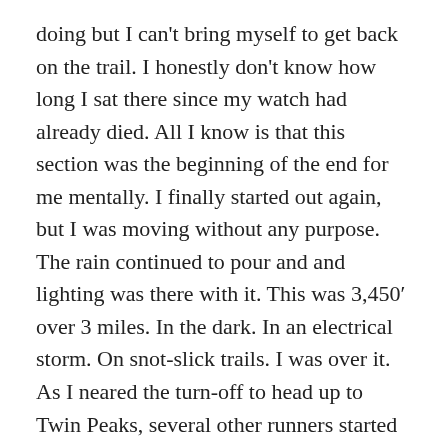doing but I can't bring myself to get back on the trail. I honestly don't know how long I sat there since my watch had already died. All I know is that this section was the beginning of the end for me mentally. I finally started out again, but I was moving without any purpose. The rain continued to pour and and lighting was there with it. This was 3,450' over 3 miles. In the dark. In an electrical storm. On snot-slick trails. I was over it. As I neared the turn-off to head up to Twin Peaks, several other runners started to give their warnings about what was ahead. It got worse. Take a step up and slide two back. Trekking poles saved a lot of heartache out there, but they still couldn't lift me up that damn mountain. I stopped and rested so many times on this segment that I lost count. When I finally neared the top, I realized I had to